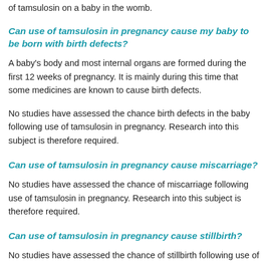of tamsulosin on a baby in the womb.
Can use of tamsulosin in pregnancy cause my baby to be born with birth defects?
A baby's body and most internal organs are formed during the first 12 weeks of pregnancy. It is mainly during this time that some medicines are known to cause birth defects.
No studies have assessed the chance birth defects in the baby following use of tamsulosin in pregnancy. Research into this subject is therefore required.
Can use of tamsulosin in pregnancy cause miscarriage?
No studies have assessed the chance of miscarriage following use of tamsulosin in pregnancy. Research into this subject is therefore required.
Can use of tamsulosin in pregnancy cause stillbirth?
No studies have assessed the chance of stillbirth following use of